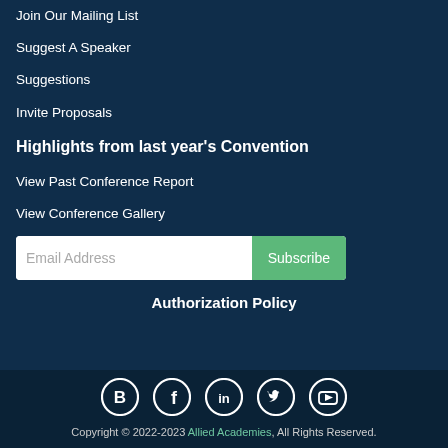Join Our Mailing List
Suggest A Speaker
Suggestions
Invite Proposals
Highlights from last year's Convention
View Past Conference Report
View Conference Gallery
Email Address
Subscribe
Authorization Policy
[Figure (other): Social media icons: B (blog), Facebook, LinkedIn, Twitter, YouTube]
Copyright © 2022-2023 Allied Academies, All Rights Reserved.